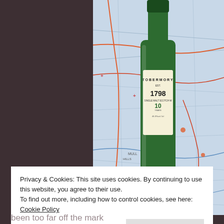[Figure (photo): A green glass bottle of Tobermory EST. 1798 Single Malt Scotch Whisky, Aged 10 Years, 46.3% vol. 5cl, placed on top of a colorful map.]
Privacy & Cookies: This site uses cookies. By continuing to use this website, you agree to their use.
To find out more, including how to control cookies, see here: Cookie Policy
Close and accept
been too far off the mark